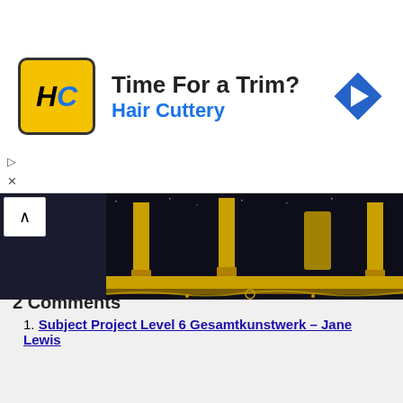[Figure (infographic): Hair Cuttery advertisement banner with logo (HC in yellow square), text 'Time For a Trim?' and 'Hair Cuttery', and a blue navigation arrow icon on the right]
[Figure (photo): Roman wall painting fragment showing golden columns and decorative Renaissance-style ornamental painting on dark background — Ancient Rome Gallery]
Roman wall painting – Ancient Rome Gallery
Roman wall painting – Ancient Rome
August 31st, 2017 | 0 Comments
2 Comments
1. Subject Project Level 6 Gesamtkunstwerk – Jane Lewis